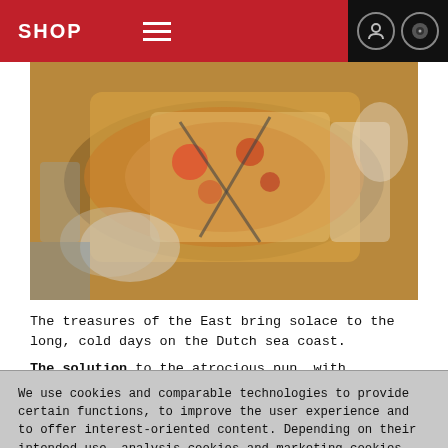SHOP
[Figure (photo): Photograph of a Chinese restaurant meal: a large plate of stir-fried food with shrimp and vegetables, chopsticks resting on it, alongside other dishes on a table.]
The treasures of the East bring solace to the long, cold days on the Dutch sea coast.
The solution to the atrocious pun, with apologies to the 95% of our readers who will not get it: Frank Muir was asked to explain
We use cookies and comparable technologies to provide certain functions, to improve the user experience and to offer interest-oriented content. Depending on their intended use, analysis cookies and marketing cookies may be used in addition to technically required cookies. Here you can make detailed settings or revoke your consent (if necessary partially) with effect for the future. Further information can be found in our data protection declaration.